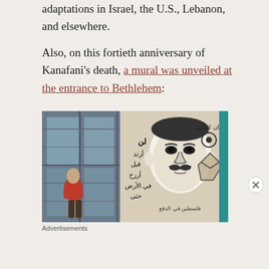adaptations in Israel, the U.S., Lebanon, and elsewhere.

Also, on this fortieth anniversary of Kanafani's death, a mural was unveiled at the entrance to Bethlehem:
[Figure (photo): A photograph showing a mural of Ghassan Kanafani painted on a wall at the entrance to Bethlehem. The mural features a black-and-white portrait of a man with Arabic text alongside it. A person in a red shirt stands near the wall on the left side of the image.]
Advertisements